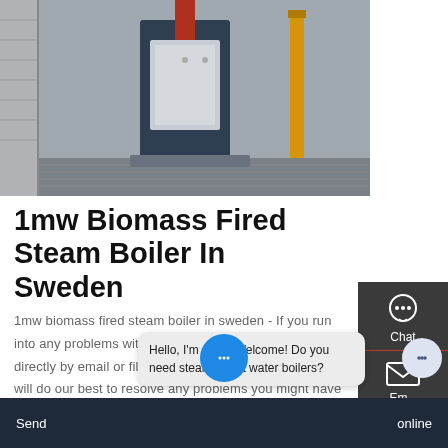[Figure (photo): Industrial boiler machine in a factory/workshop setting, with a blue/grey rectangular body, red vertical pole, yellow safety pole on the right, metal shelving on the left, and a grated floor.]
1mw Biomass Fired Steam Boiler In Sweden
1mw biomass fired steam boiler in sweden - If you run into any problems with the boiler, please contact us directly by email or fill out the online service request. We will do our best to resolve any problems you might have within 24 hours. Get Price
Get A Quote
Chat
Email
Contact
Hello, I'm Allen. Welcome! Do you need steam or hot water boilers?
Send
online